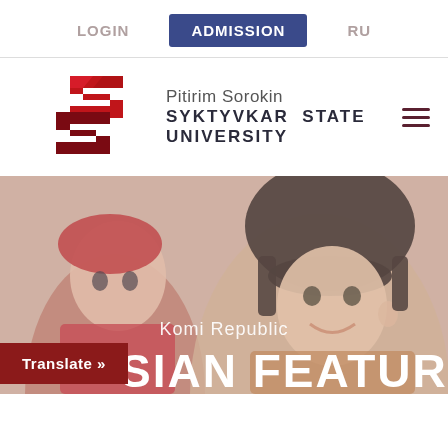LOGIN  ADMISSION  RU
[Figure (logo): Pitirim Sorokin Syktyvkar State University logo — red angular stylized double-S/P shapes]
Pitirim Sorokin
SYKTYVKAR  STATE  UNIVERSITY
[Figure (photo): Two people in traditional Russian/Komi folk costumes — a woman with a red headscarf on the left and a man with a large dark fur hat on the right, smiling, with a warm reddish-beige background]
Komi Republic
SIAN FEATURES
Translate »